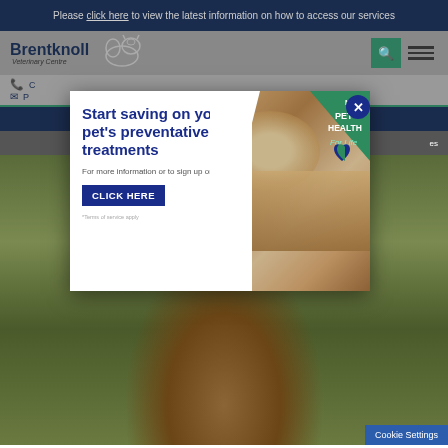Please click here to view the latest information on how to access our services
[Figure (screenshot): Brentknoll Veterinary Centre website screenshot showing logo, navigation, contact info, nav bars, hero dog image, and a pop-up advertisement for Pet Health For Life plan with text 'Start saving on your pet's preventative treatments. For more information or to sign up online CLICK HERE'. Cookie Settings bar visible at bottom right.]
Start saving on your pet's preventative treatments
For more information or to sign up online
CLICK HERE
*Terms of service apply
Cookie Settings